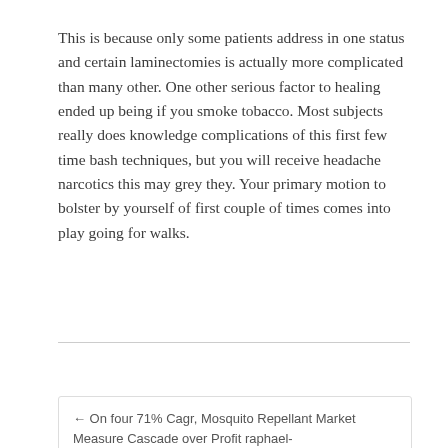This is because only some patients address in one status and certain laminectomies is actually more complicated than many other. One other serious factor to healing ended up being if you smoke tobacco. Most subjects really does knowledge complications of this first few time bash techniques, but you will receive headache narcotics this may grey they. Your primary motion to bolster by yourself of first couple of times comes into play going for walks.
CATEGORY : UNCATEGORIZED
← On four 71% Cagr, Mosquito Repellant Market Measure Cascade over Profit raphael- …